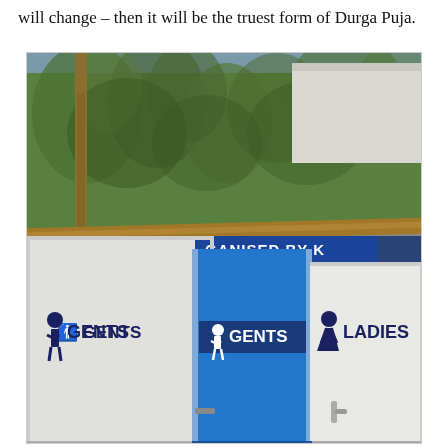will change – then it will be the truest form of Durga Puja.
[Figure (photo): Photograph of portable toilet facilities set up outdoors. Two white cubicle structures and a blue door are visible. Signs read 'GENTS' on the left white panel and blue door, and 'LADIES' on the right white panel. A blue banner reads 'GANISED BY K...' above. Bamboo scaffolding and green foliage are visible in the background.]